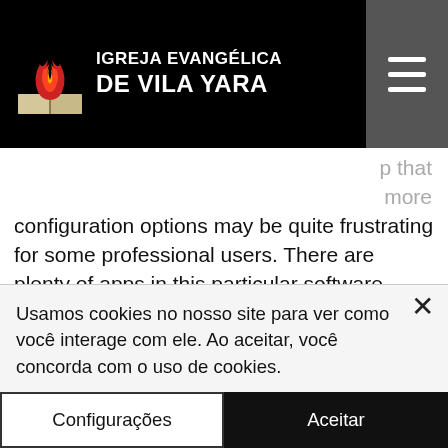[Figure (logo): Igreja Evangélica de Vila Yara logo with flame and open book icon, white text on black background, with hamburger menu button]
p that more configuration options may be quite frustrating for some professional users. There are plenty of apps in this particular software category and AVI to DVD Maker seems more appropriate for rookies.Fully Submerged Technology
with Infinergy
The latest deployment of Infinergy's wideband remote communications system for offshore vessels, the Infinergy 2600, is on board Umax Atlantic's supertanker, MV Kangding, in the Persian Gulf. The vessel's
Usamos cookies no nosso site para ver como você interage com ele. Ao aceitar, você concorda com o uso de cookies.
Configurações
Aceitar